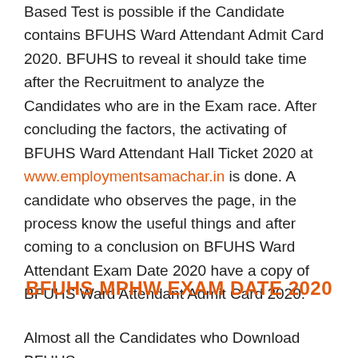Based Test is possible if the Candidate contains BFUHS Ward Attendant Admit Card 2020. BFUHS to reveal it should take time after the Recruitment to analyze the Candidates who are in the Exam race. After concluding the factors, the activating of BFUHS Ward Attendant Hall Ticket 2020 at www.employmentsamachar.in is done. A candidate who observes the page, in the process know the useful things and after coming to a conclusion on BFUHS Ward Attendant Exam Date 2020 have a copy of BFUHS Ward Attendant Admit Card 2020.
BFUHS MPHW EXAM DATE 2020
Almost all the Candidates who Download BFUHS